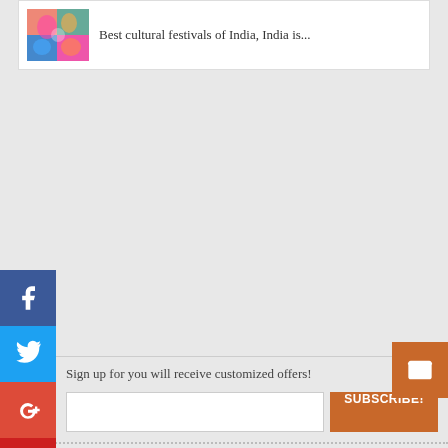[Figure (photo): Colorful cultural festival photo thumbnail with vibrant colors]
Best cultural festivals of India, India is...
[Figure (infographic): Social media sharing sidebar with Facebook, Twitter, Google+, YouTube, Instagram buttons]
[Figure (infographic): Email subscription button on right side]
Sign up for you will receive customized offers!
SUBSCRIBE!